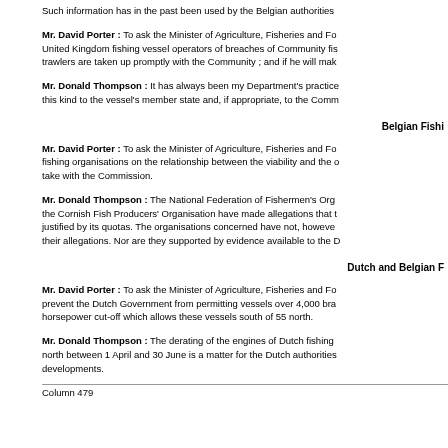Such information has in the past been used by the Belgian authorities
Mr. David Porter : To ask the Minister of Agriculture, Fisheries and Fo... United Kingdom fishing vessel operators of breaches of Community fis... trawlers are taken up promptly with the Community ; and if he will mak...
Mr. Donald Thompson : It has always been my Department's practice... this kind to the vessel's member state and, if appropriate, to the Comm...
Belgian Fishi
Mr. David Porter : To ask the Minister of Agriculture, Fisheries and Fo... fishing organisations on the relationship between the viability and the ... take with the Commission.
Mr. Donald Thompson : The National Federation of Fishermen's Org... the Cornish Fish Producers' Organisation have made allegations that t... justified by its quotas. The organisations concerned have not, howeve... their allegations. Nor are they supported by evidence available to the D...
Dutch and Belgian F
Mr. David Porter : To ask the Minister of Agriculture, Fisheries and Fo... prevent the Dutch Government from permitting vessels over 4,000 bra... horsepower cut-off which allows these vessels south of 55 north.
Mr. Donald Thompson : The derating of the engines of Dutch fishing ... north between 1 April and 30 June is a matter for the Dutch authorities... developments.
Column 479